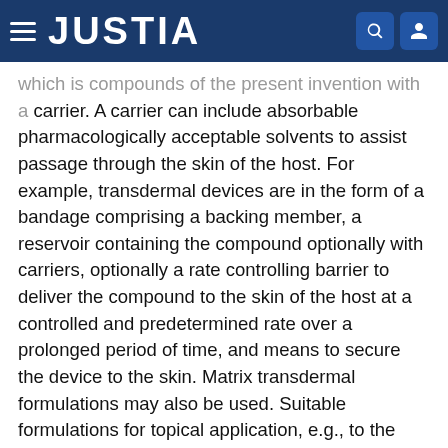JUSTIA
which is compounds of the present invention with a carrier. A carrier can include absorbable pharmacologically acceptable solvents to assist passage through the skin of the host. For example, transdermal devices are in the form of a bandage comprising a backing member, a reservoir containing the compound optionally with carriers, optionally a rate controlling barrier to deliver the compound to the skin of the host at a controlled and predetermined rate over a prolonged period of time, and means to secure the device to the skin. Matrix transdermal formulations may also be used. Suitable formulations for topical application, e.g., to the skin and eyes, are preferably aqueous solutions, ointments, creams or gels well-known in the art. Such may contain solubilizers, stabilizers, tonicity enhancing agents, buffers and preservatives.